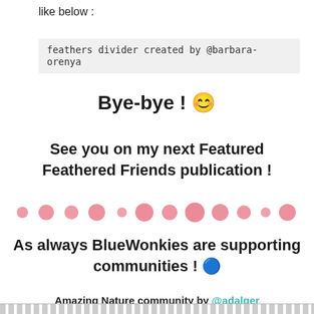like below :
feathers divider created by @barbara-orenya
Bye-bye ! 😊
See you on my next Featured Feathered Friends publication !
[Figure (illustration): A row of pink dots of varying sizes used as a decorative divider]
As always BlueWonkies are supporting communities ! 🔵
Amazing Nature community by @adalger